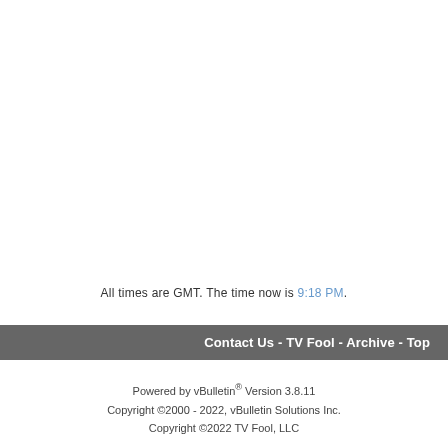All times are GMT. The time now is 9:18 PM.
Contact Us - TV Fool - Archive - Top
Powered by vBulletin® Version 3.8.11
Copyright ©2000 - 2022, vBulletin Solutions Inc.
Copyright ©2022 TV Fool, LLC